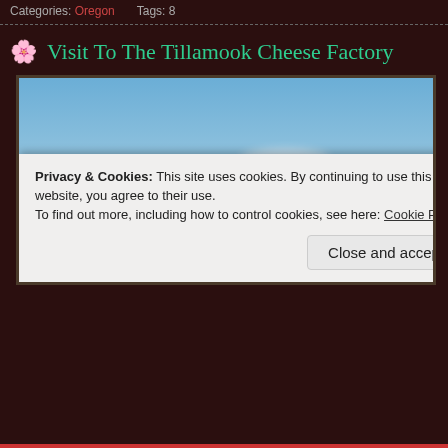Categories: Oregon   Tags: 8
🌸 Visit To The Tillamook Cheese Factory
[Figure (photo): Outdoor photo of the Tillamook Cheese Factory buildings with industrial silos visible against a blue sky with scattered clouds]
Privacy & Cookies: This site uses cookies. By continuing to use this website, you agree to their use.
To find out more, including how to control cookies, see here: Cookie Policy
Close and accept